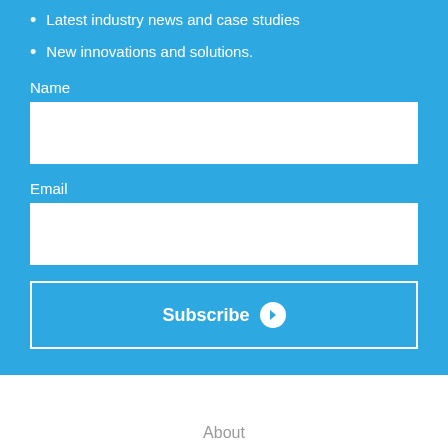Latest industry news and case studies
New innovations and solutions.
Name
Email
Subscribe
About